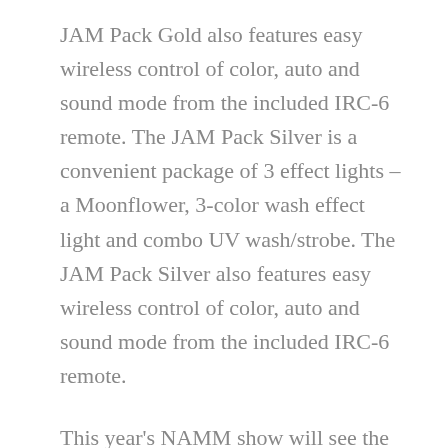JAM Pack Gold also features easy wireless control of color, auto and sound mode from the included IRC-6 remote. The JAM Pack Silver is a convenient package of 3 effect lights – a Moonflower, 3-color wash effect light and combo UV wash/strobe. The JAM Pack Silver also features easy wireless control of color, auto and sound mode from the included IRC-6 remote.
This year's NAMM show will see the release of an innovative new CHAUVET DJ light controller. The FootC is a